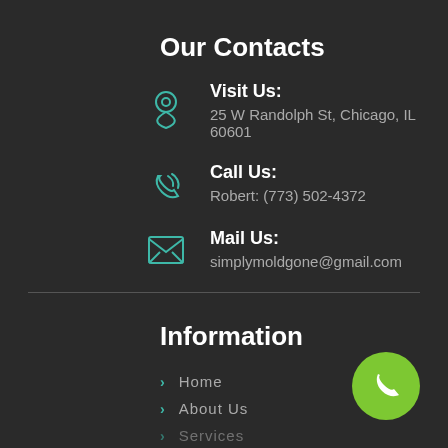Our Contacts
Visit Us: 25 W Randolph St, Chicago, IL 60601
Call Us: Robert: (773) 502-4372
Mail Us: simplymoldgone@gmail.com
Information
Home
About Us
Services